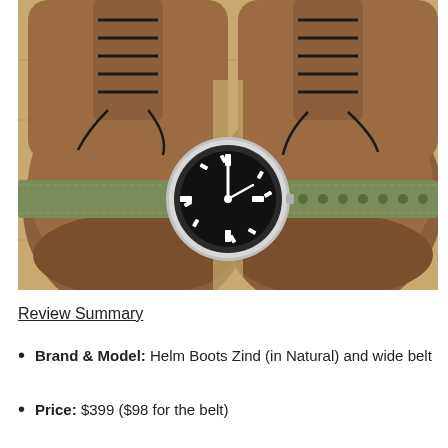[Figure (photo): Overhead photograph of brown leather Helm Boots Zind shoes with black laces, displayed on a wooden surface. A dive-style wristwatch with a black dial and silver case is resting on an olive/khaki canvas watch strap that is laid across the front toe area of the shoes.]
Review Summary
Brand & Model: Helm Boots Zind (in Natural) and wide belt
Price: $399 ($98 for the belt)